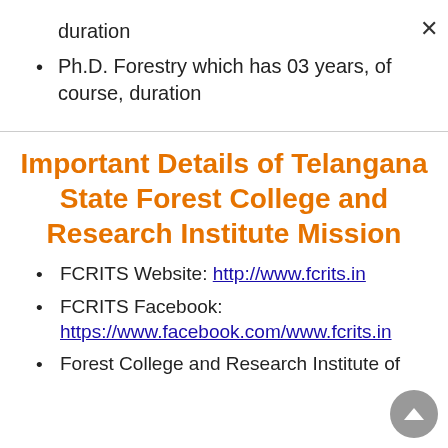duration
Ph.D. Forestry which has 03 years, of course, duration
Important Details of Telangana State Forest College and Research Institute Mission
FCRITS Website: http://www.fcrits.in
FCRITS Facebook: https://www.facebook.com/www.fcrits.in
Forest College and Research Institute of